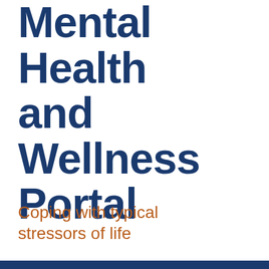Mental Health and Wellness Portal
Coping with typical stressors of life